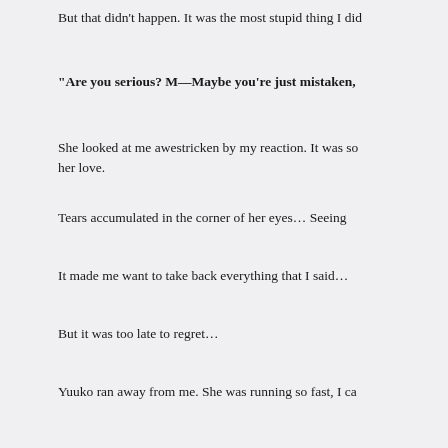But that didn't happen. It was the most stupid thing I did
“Are you serious? M—Maybe you’re just mistaken,
She looked at me awestricken by my reaction. It was so… her love.
Tears accumulated in the corner of her eyes… Seeing
It made me want to take back everything that I said…
But it was too late to regret…
Yuuko ran away from me. She was running so fast, I ca
Suddenly, when she was crossing the road, there was a
I was so far from her. My heartbeat was so loud. “Yuuko
But it was too late for her to notice.
Screeeeech.
And there on the cold ground, Yuko's body laid. It was a
The moment I got near, I immediately carried her body.
We rushed Yuko to the nearest hospital…